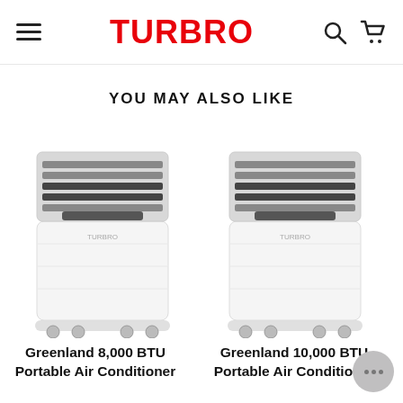TURBRO
YOU MAY ALSO LIKE
[Figure (photo): Turbro Greenland 8,000 BTU Portable Air Conditioner product image, white unit with gray vents on top and wheels on the bottom]
Greenland 8,000 BTU Portable Air Conditioner
[Figure (photo): Turbro Greenland 10,000 BTU Portable Air Conditioner product image, white unit with gray vents on top and wheels on the bottom]
Greenland 10,000 BTU Portable Air Conditioner